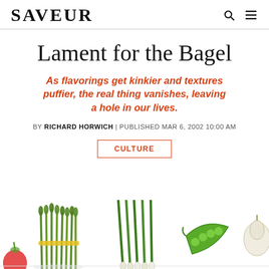SAVEUR
Lament for the Bagel
As flavorings get kinkier and textures puffier, the real thing vanishes, leaving a hole in our lives.
BY RICHARD HORWICH | PUBLISHED MAR 6, 2002 10:00 AM
CULTURE
[Figure (illustration): Row of illustrated vegetables including asparagus, green onions/scallions, snap peas, and garlic, partially cropped at bottom of page]